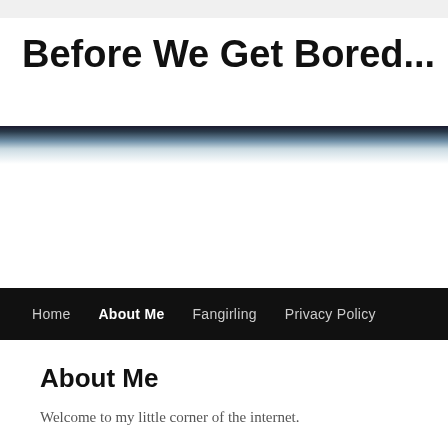Before We Get Bored...
[Figure (photo): Website header banner image — a wide panoramic photo strip, appears to show a sky or landscape scene in muted blue-grey tones, used as a decorative header for the blog.]
Home | About Me | Fangirling | Privacy Policy
About Me
Welcome to my little corner of the internet.